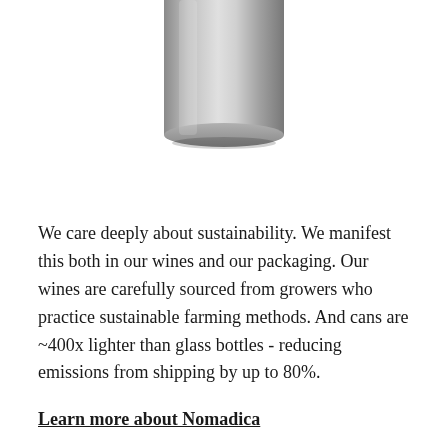[Figure (photo): Bottom portion of a metallic silver wine/beverage can, showing the rounded bottom edge and lower body of the can against a white background.]
We care deeply about sustainability. We manifest this both in our wines and our packaging. Our wines are carefully sourced from growers who practice sustainable farming methods. And cans are ~400x lighter than glass bottles - reducing emissions from shipping by up to 80%.
Learn more about Nomadica